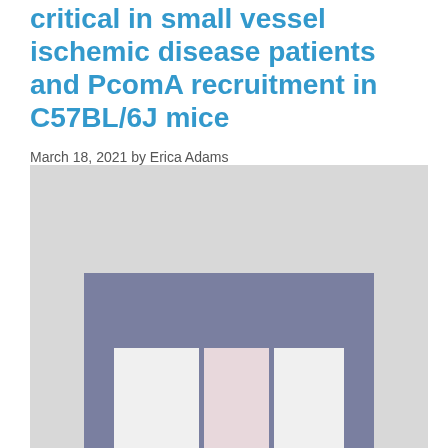critical in small vessel ischemic disease patients and PcomA recruitment in C57BL/6J mice
March 18, 2021 by Erica Adams
[Figure (photo): Photograph of a gray rectangular frame/bracket object with a rectangular cutout revealing a pink/light-colored inner region, placed on a light gray surface.]